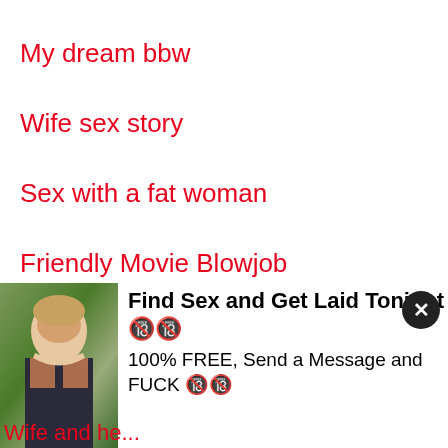My dream bbw
Wife sex story
Sex with a fat woman
Friendly Movie Blowjob
Plus size teen loses virginity
[Figure (photo): Advertisement overlay with photo of young woman and text: Find Sex and Get Laid Tonight 🔞🔞 / 100% FREE, Send a Message and FUCK 🔞🔞]
Wife and he...